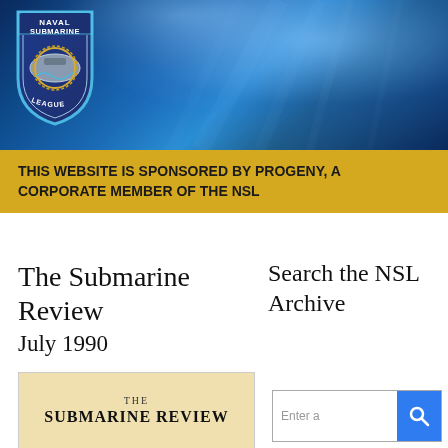[Figure (logo): Naval Submarine League shield logo with submarine imagery and text NAVAL SUBMARINE LEAGUE]
[Figure (photo): Underwater ocean scene with blue light rays, used as header banner background]
THIS WEBSITE IS SPONSORED BY PROGENY, A CORPORATE MEMBER OF THE NSL
The Submarine Review
July 1990
[Figure (photo): Thumbnail cover of The Submarine Review publication showing THE SUBMARINE REVIEW text]
Search the NSL Archive
[Figure (screenshot): Search input box with blue search button icon]